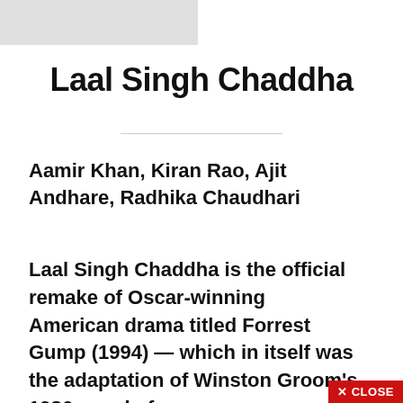[Figure (other): Gray rectangle image placeholder in top-left corner]
Laal Singh Chaddha
Aamir Khan, Kiran Rao, Ajit Andhare, Radhika Chaudhari
Laal Singh Chaddha is the official remake of Oscar-winning American drama titled Forrest Gump (1994) — which in itself was the adaptation of Winston Groom's 1986 novel of
✕ CLOSE